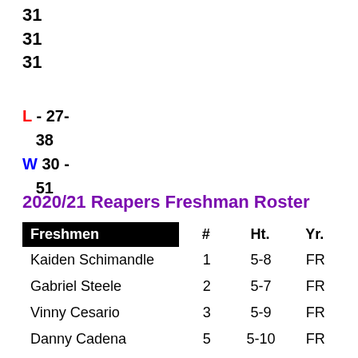31
31
31
L - 27-38
W 30 - 51
2020/21 Reapers Freshman Roster
| Freshmen | # | Ht. | Yr. |
| --- | --- | --- | --- |
| Kaiden Schimandle | 1 | 5-8 | FR |
| Gabriel Steele | 2 | 5-7 | FR |
| Vinny Cesario | 3 | 5-9 | FR |
| Danny Cadena | 5 | 5-10 | FR |
| Jason Royally | 10 | 5-10 | FR |